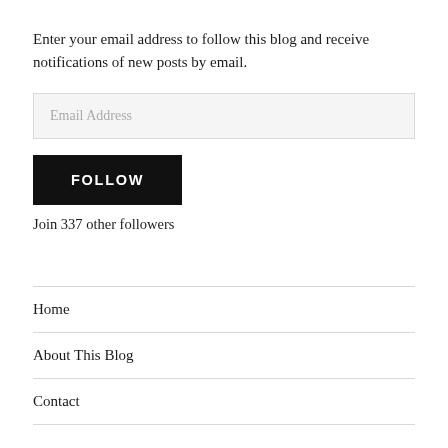Enter your email address to follow this blog and receive notifications of new posts by email.
[Figure (other): Email address input field with placeholder text 'Email Address']
[Figure (other): Black FOLLOW button]
Join 337 other followers
Home
About This Blog
Contact